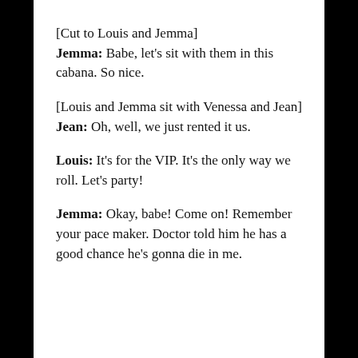[Cut to Louis and Jemma]
Jemma: Babe, let's sit with them in this cabana. So nice.
[Louis and Jemma sit with Venessa and Jean]
Jean: Oh, well, we just rented it us.
Louis: It's for the VIP. It's the only way we roll. Let's party!
Jemma: Okay, babe! Come on! Remember your pace maker. Doctor told him he has a good chance he's gonna die in me.